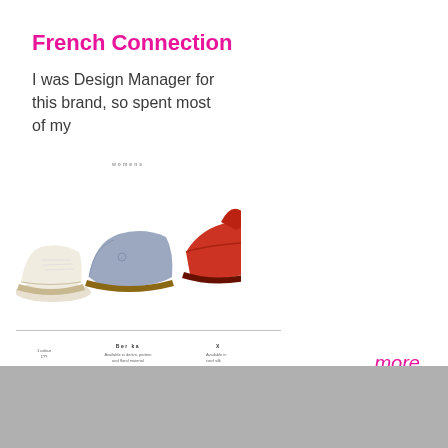French Connection
I was Design Manager for this brand, so spent most of my
[Figure (screenshot): Screenshot of a footwear product page showing three shoes — a white sneaker, a blue/grey slip-on sneaker, and a red shoe — with product details, color swatches (purple and orange-red), and a 'womens' header.]
more